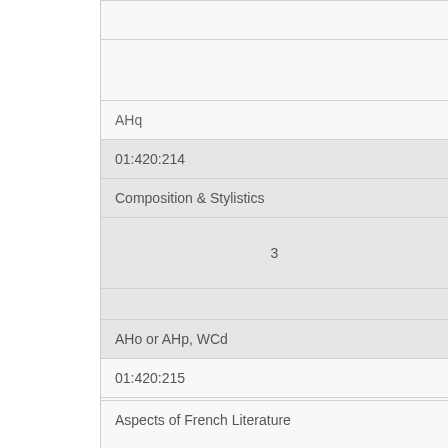| Code | Course Name | Credits | Attributes |
| --- | --- | --- | --- |
|  | AHq |  |  |
| 01:420:214 | Composition & Stylistics | 3 | AHo or AHp, WCd |
| 01:420:215 | Aspects of French Literature |  |  |